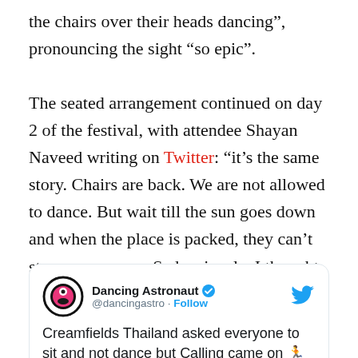the chairs over their heads dancing", pronouncing the sight “so epic”.
The seated arrangement continued on day 2 of the festival, with attendee Shayan Naveed writing on Twitter: “it’s the same story. Chairs are back. We are not allowed to dance. But wait till the sun goes down and when the place is packed, they can’t stop us anymore. Sad seriously. I thought today at least would be different. Feel bad for early DJs.”
[Figure (screenshot): Embedded tweet card from @dancingastro (Dancing Astronaut, verified) with Twitter bird icon, saying 'Creamfields Thailand asked everyone to sit and not dance but Calling came on...' with avatar showing a space-themed logo]